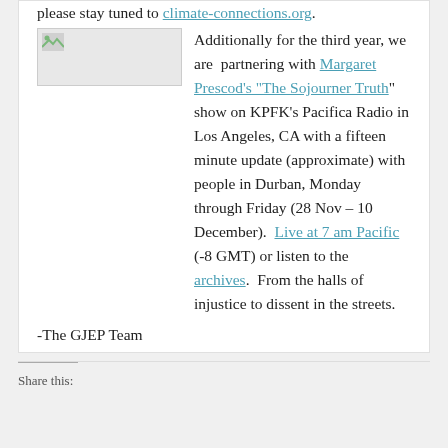please stay tuned to climate-connections.org.
[Figure (photo): Small image placeholder with broken image icon]
Additionally for the third year, we are  partnering with Margaret Prescod’s “The Sojourner Truth” show on KPFK’s Pacifica Radio in Los Angeles, CA with a fifteen minute update (approximate) with people in Durban, Monday through Friday (28 Nov – 10 December).  Live at 7 am Pacific (-8 GMT) or listen to the archives.  From the halls of injustice to dissent in the streets.
-The GJEP Team
Share this: